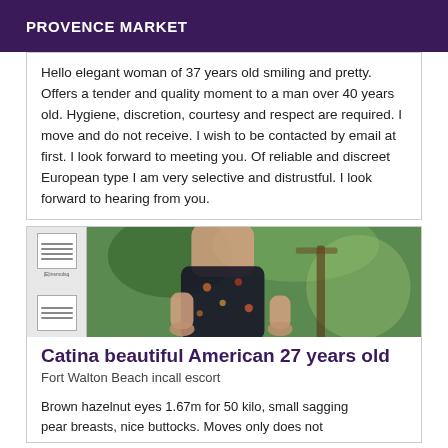PROVENCE MARKET
Hello elegant woman of 37 years old smiling and pretty. Offers a tender and quality moment to a man over 40 years old. Hygiene, discretion, courtesy and respect are required. I move and do not receive. I wish to be contacted by email at first. I look forward to meeting you. Of reliable and discreet European type I am very selective and distrustful. I look forward to hearing from you.
[Figure (photo): Photo of a woman in a floral dress, with tropical plants in the background. Left side shows thumbnail document-like boxes.]
Catina beautiful American 27 years old
Fort Walton Beach incall escort
Brown hazelnut eyes 1.67m for 50 kilo, small sagging pear breasts, nice buttocks. Moves only does not